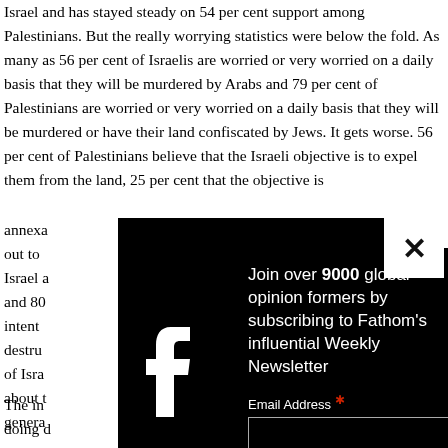Israel and has stayed steady on 54 per cent support among Palestinians. But the really worrying statistics were below the fold. As many as 56 per cent of Israelis are worried or very worried on a daily basis that they will be murdered by Arabs and 79 per cent of Palestinians are worried or very worried on a daily basis that they will be murdered or have their land confiscated by Jews. It gets worse. 56 per cent of Palestinians believe that the Israeli objective is to expel them from the land, 25 per cent that the objective is annexa... out to... Israel a... and 80... intent... destru... of Isra... about t... genera...
[Figure (screenshot): A popup newsletter subscription modal with black background overlaying the article text. Contains a large white Facebook 'f' logo on the left, a close (X) button in the top right corner, the text 'Join over 9000 global opinion formers by subscribing to Fathom's influential Weekly Newsletter', an 'Email Address *' label with a text input field.]
The in... doing d...